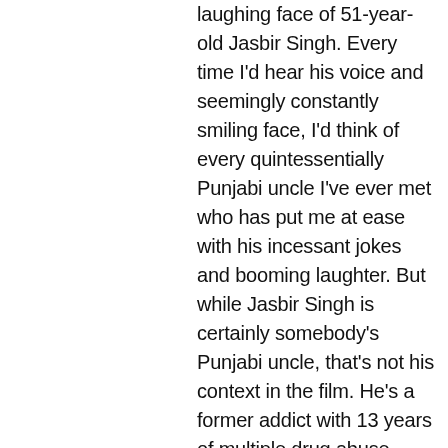laughing face of 51-year-old Jasbir Singh. Every time I'd hear his voice and seemingly constantly smiling face, I'd think of every quintessentially Punjabi uncle I've ever met who has put me at ease with his incessant jokes and booming laughter. But while Jasbir Singh is certainly somebody's Punjabi uncle, that's not his context in the film. He's a former addict with 13 years of multiple drug abuse behind him.

The film opens with a montage of shots of Singh watering his plants and doing yoga. The first time you hear his voice is when he jokingly asks if it seems like he's drunk after his morning routine, because that's how it makes him feel